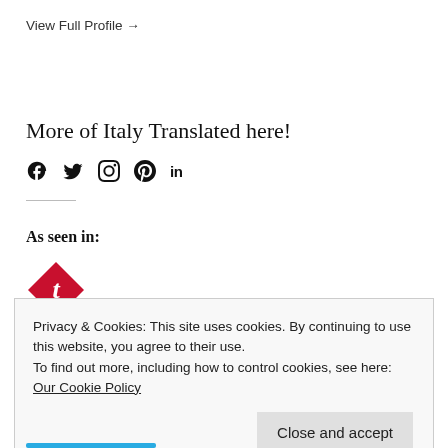View Full Profile →
More of Italy Translated here!
[Figure (infographic): Social media icons: Facebook, Twitter, Instagram, Pinterest, LinkedIn]
As seen in:
[Figure (logo): Red diamond-shaped logo with a stylized T letter]
Privacy & Cookies: This site uses cookies. By continuing to use this website, you agree to their use.
To find out more, including how to control cookies, see here: Our Cookie Policy
Close and accept